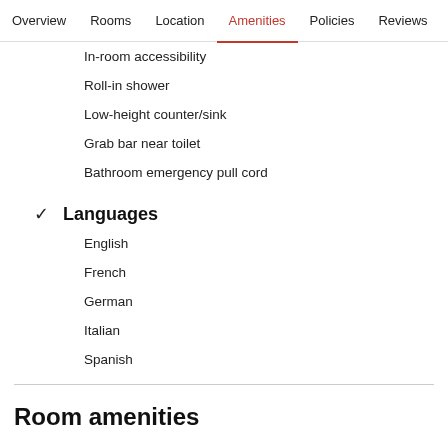Overview  Rooms  Location  Amenities  Policies  Reviews
In-room accessibility
Roll-in shower
Low-height counter/sink
Grab bar near toilet
Bathroom emergency pull cord
✓  Languages
English
French
German
Italian
Spanish
Room amenities